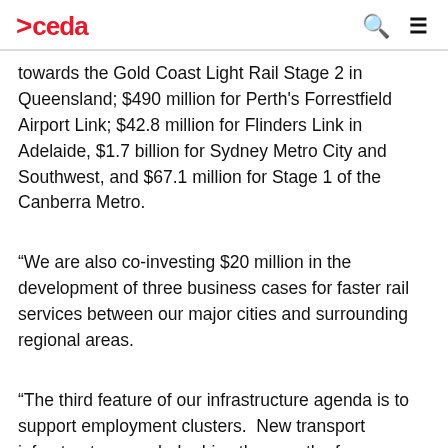>ceda
towards the Gold Coast Light Rail Stage 2 in Queensland; $490 million for Perth's Forrestfield Airport Link; $42.8 million for Flinders Link in Adelaide, $1.7 billion for Sydney Metro City and Southwest, and $67.1 million for Stage 1 of the Canberra Metro.
“We are also co-investing $20 million in the development of three business cases for faster rail services between our major cities and surrounding regional areas.
“The third feature of our infrastructure agenda is to support employment clusters.  New transport infrastructure can help drive the growth of employment clusters - such as Macquarie Park, which I mentioned earlier, clearly demonstrates.